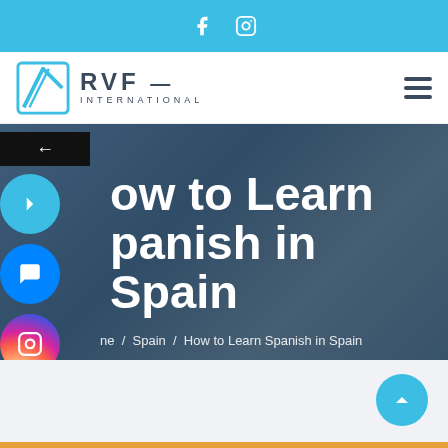f  [instagram icon]
[Figure (logo): RVF International logo with blue diamond/arrow icon and stylized text]
[Figure (photo): Hero banner image showing students studying, with blue overlay. Title reads 'How to Learn Spanish in Spain' with breadcrumb navigation: Home / Spain / How to Learn Spanish in Spain]
How to Learn Spanish in Spain
Home  /  Spain  /  How to Learn Spanish in Spain